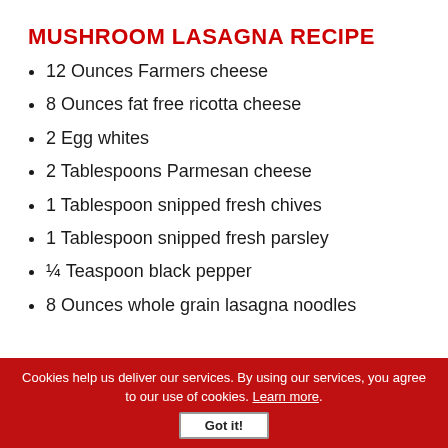MUSHROOM LASAGNA RECIPE
12 Ounces Farmers cheese
8 Ounces fat free ricotta cheese
2 Egg whites
2 Tablespoons Parmesan cheese
1 Tablespoon snipped fresh chives
1 Tablespoon snipped fresh parsley
¼ Teaspoon black pepper
8 Ounces whole grain lasagna noodles
Cookies help us deliver our services. By using our services, you agree to our use of cookies. Learn more. Got it!